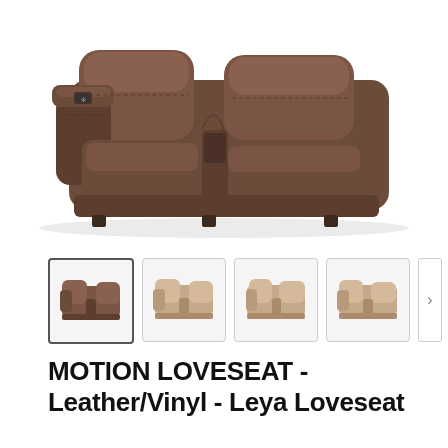[Figure (photo): Main product photo of a dark brown leather/vinyl motion loveseat recliner sofa, viewed from a back-angle perspective showing the rear and side of the sofa against a white background.]
[Figure (photo): Thumbnail gallery row with four small images of a motion loveseat: first (selected/highlighted) shows dark brown leather version, second shows beige/tan fabric version front view, third shows beige/tan fabric version slightly different angle, fourth shows beige/tan fabric version another angle. A right-arrow navigation button is visible at the far right.]
MOTION LOVESEAT - Leather/Vinyl - Leya Loveseat